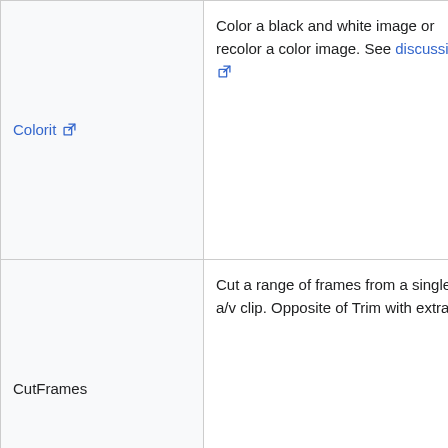|  | Name | Description | Format |
| --- | --- | --- | --- |
|  | Colorit | Color a black and white image or recolor a color image. See discussion. | RGB32, RGB24, YUY2, YV12 |
|  | CutFrames | Cut a range of frames from a single a/v clip. Opposite of Trim with extras. |  |
|  | DCT | Plugin with the following functions: IDCT, IDCT2, FDCT, FDCT2. See discussion | YUY2 |
|  | DDigit | DDigit Plugin Text Rendering Pack for Plugin writers. See discussion. |  |
|  |  | This is a specific filter which might |  |